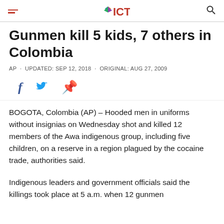ICT
Gunmen kill 5 kids, 7 others in Colombia
AP · UPDATED: SEP 12, 2018 · ORIGINAL: AUG 27, 2009
[Figure (other): Social share icons: Facebook, Twitter, Pinterest]
BOGOTA, Colombia (AP) – Hooded men in uniforms without insignias on Wednesday shot and killed 12 members of the Awa indigenous group, including five children, on a reserve in a region plagued by the cocaine trade, authorities said.
Indigenous leaders and government officials said the killings took place at 5 a.m. when 12 gunmen